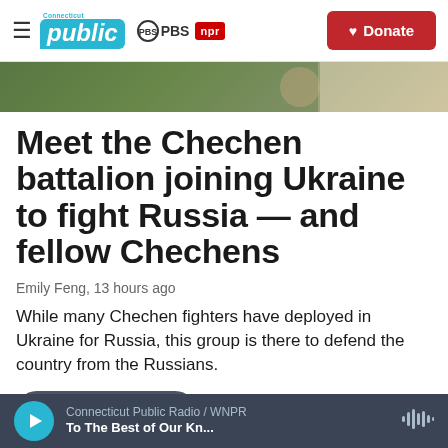Connecticut Public PBS NPR | Donate
[Figure (photo): Hero image showing military/camouflage scene, partially cropped]
Meet the Chechen battalion joining Ukraine to fight Russia — and fellow Chechens
Emily Feng, 13 hours ago
While many Chechen fighters have deployed in Ukraine for Russia, this group is there to defend the country from the Russians.
LISTEN • 3:23
Connecticut Public Radio / WNPR | To The Best of Our Kn...